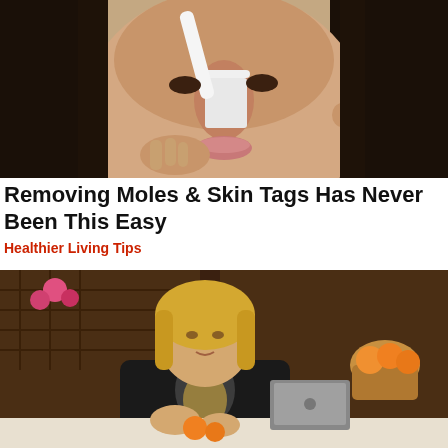[Figure (photo): Close-up photo of a woman with dark hair applying a white strip or product to her nose area using a white tool, skin care/beauty context]
Removing Moles & Skin Tags Has Never Been This Easy
Healthier Living Tips
[Figure (photo): A blonde woman wearing a black jacket with a decorative design sitting at a table, appearing to hold or peel fruit; a basket of oranges visible in background]